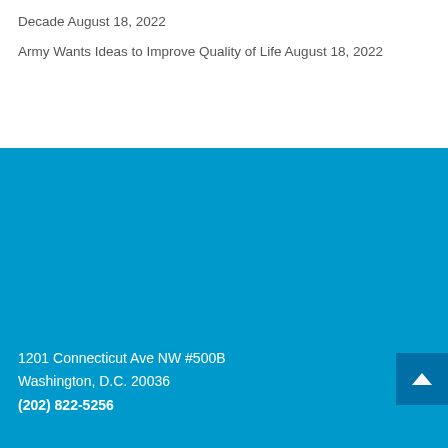Decade August 18, 2022
Army Wants Ideas to Improve Quality of Life August 18, 2022
1201 Connecticut Ave NW #500B
Washington, D.C. 20036
(202) 822-5256